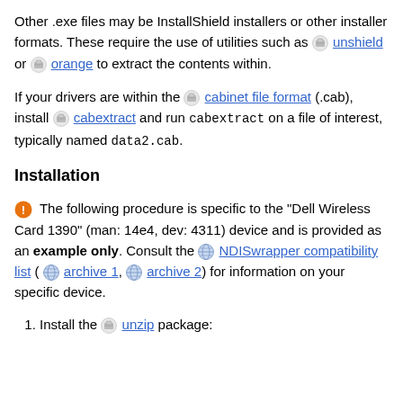Other .exe files may be InstallShield installers or other installer formats. These require the use of utilities such as  unshield or  orange to extract the contents within.
If your drivers are within the  cabinet file format (.cab), install  cabextract and run cabextract on a file of interest, typically named data2.cab.
Installation
The following procedure is specific to the "Dell Wireless Card 1390" (man: 14e4, dev: 4311) device and is provided as an example only. Consult the NDISwrapper compatibility list ( archive 1,  archive 2) for information on your specific device.
1. Install the  unzip package: